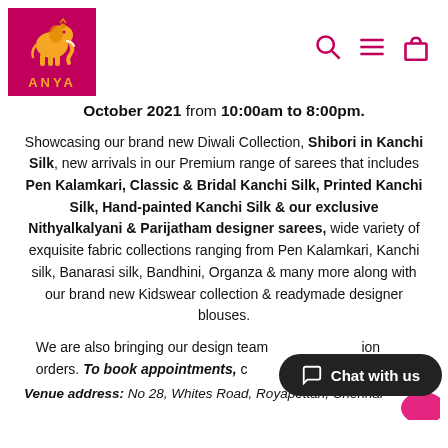[Figure (logo): Anya brand logo: pink/magenta square with golden elephant illustration and 'ANYA' text below]
October 2021 from 10:00am to 8:00pm.
Showcasing our brand new Diwali Collection, Shibori in Kanchi Silk, new arrivals in our Premium range of sarees that includes Pen Kalamkari, Classic & Bridal Kanchi Silk, Printed Kanchi Silk, Hand-painted Kanchi Silk & our exclusive Nithyalkalyani & Parijatham designer sarees, wide variety of exquisite fabric collections ranging from Pen Kalamkari, Kanchi silk, Banarasi silk, Bandhini, Organza & many more along with our brand new Kidswear collection & readymade designer blouses.
We are also bringing our design team for custom orders. To book appointments, contact us.
Venue address: No 28, Whites Road, Royapettah, Chennai